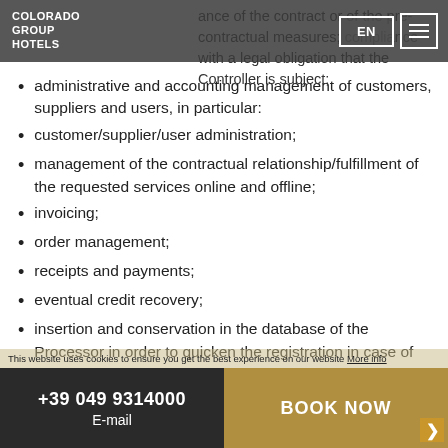COLORADO GROUP HOTELS | EN
ance of the contract or of the pre-contractual measures; compliance with a legal obligation that the Controller is subject;
administrative and accounting management of customers, suppliers and users, in particular:
customer/supplier/user administration;
management of the contractual relationship/fulfillment of the requested services online and offline;
invoicing;
order management;
receipts and payments;
eventual credit recovery;
insertion and conservation in the database of the Processor in order to quicken the registration in case of next stay;
communication to third persons for the only purpose of receiving mail and calls for the Data Subject during the stay;
sending newsletters and/or material and/or advertising and promotional communications relating to products, services or events attributable to the activities of the Controller (soft
This website uses cookies to ensure you get the best experience on our website More info | +39 049 9314000 | E-mail | BOOK NOW